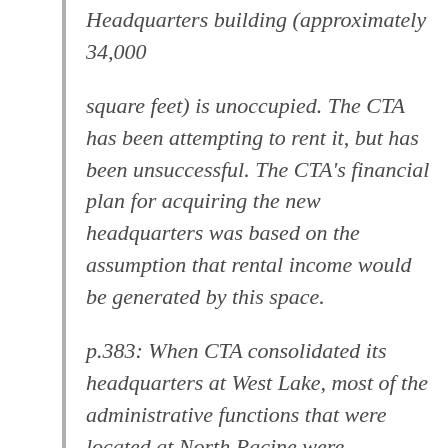Headquarters building (approximately 34,000 square feet) is unoccupied. The CTA has been attempting to rent it, but has been unsuccessful. The CTA's financial plan for acquiring the new headquarters was based on the assumption that rental income would be generated by this space.
p.383: When CTA consolidated its headquarters at West Lake, most of the administrative functions that were located at North Racine were relocated to West Lake. The CTA control center remains in